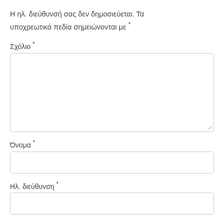Η ηλ. διεύθυνσή σας δεν δημοσιεύεται. Τα υποχρεωτικά πεδία σημειώνονται με *
Σχόλιο *
[Figure (other): Large textarea input box for comment field]
Όνομα *
[Figure (other): Single-line text input box for name field]
Ηλ. διεύθυνση *
[Figure (other): Single-line text input box for email field]